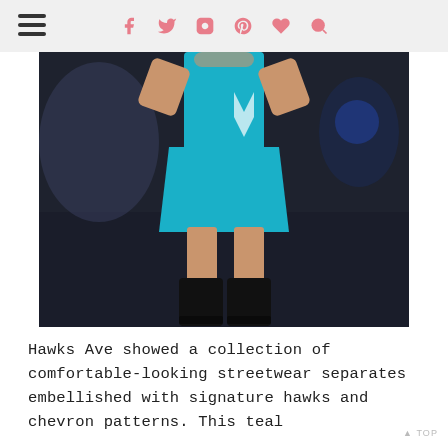≡  f  🐦  📷  P  ♥  🔍
[Figure (photo): Fashion runway photo showing a model wearing a short teal/blue dress with a hawk and chevron emblem on the side, paired with black knee-high boots, standing on a dark runway.]
Hawks Ave showed a collection of comfortable-looking streetwear separates embellished with signature hawks and chevron patterns. This teal